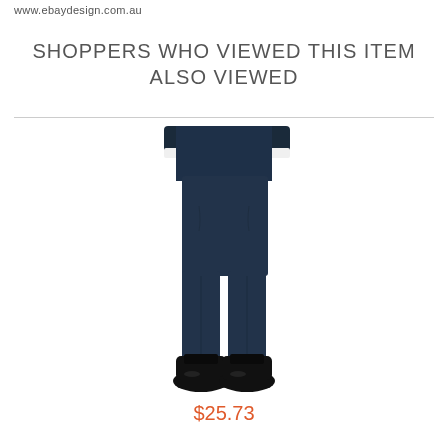www.ebaydesign.com.au
SHOPPERS WHO VIEWED THIS ITEM ALSO VIEWED
[Figure (photo): Photo of a person's lower body wearing navy blue suit trousers and black leather dress shoes, hands in pockets, white shirt cuffs visible at top]
$25.73